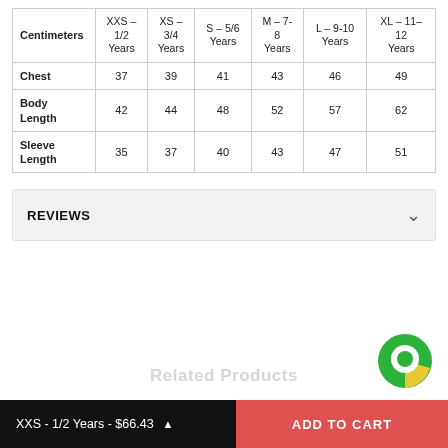| Centimeters | XXS – 1/2 Years | XS – 3/4 Years | S – 5/6 Years | M – 7-8 Years | L – 9-10 Years | XL – 11-12 Years |
| --- | --- | --- | --- | --- | --- | --- |
| Chest | 37 | 39 | 41 | 43 | 46 | 49 |
| Body Length | 42 | 44 | 48 | 52 | 57 | 62 |
| Sleeve Length | 35 | 37 | 40 | 43 | 47 | 51 |
REVIEWS
Related Products